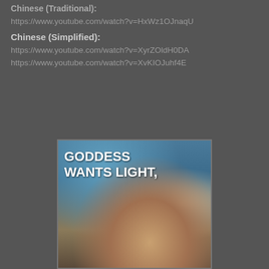Chinese (Traditional):
https://www.youtube.com/watch?v=HxWz1OJnaqU
Chinese (Simplified):
https://www.youtube.com/watch?v=XyrZOldH0DA
https://www.youtube.com/watch?v=XvKIOJuhf4E
[Figure (illustration): Fantasy illustration of a goddess with dark hair and a flower crown, wings visible in the background, with text overlay reading 'GODDESS WANTS LIGHT,']